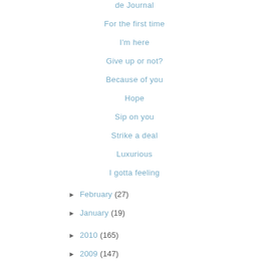de Journal
For the first time
I'm here
Give up or not?
Because of you
Hope
Sip on you
Strike a deal
Luxurious
I gotta feeling
► February (27)
► January (19)
► 2010 (165)
► 2009 (147)
► 2008 (84)